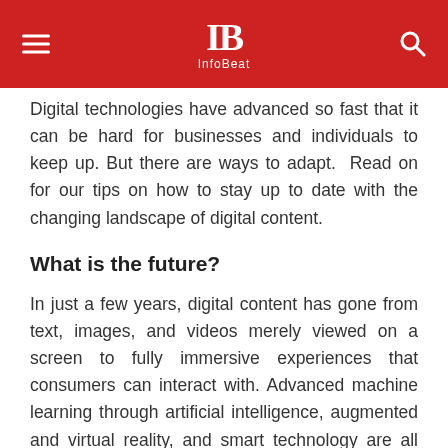InfoBeat
Digital technologies have advanced so fast that it can be hard for businesses and individuals to keep up. But there are ways to adapt.  Read on for our tips on how to stay up to date with the changing landscape of digital content.
What is the future?
In just a few years, digital content has gone from text, images, and videos merely viewed on a screen to fully immersive experiences that consumers can interact with. Advanced machine learning through artificial intelligence, augmented and virtual reality, and smart technology are all big topics in the tech world right now. Consumers are able to use wearable software to fully experience their digital content in a virtual world; whilst businesses can attract customers through